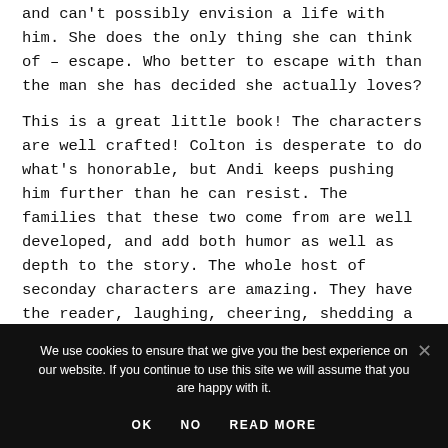and can't possibly envision a life with him. She does the only thing she can think of – escape. Who better to escape with than the man she has decided she actually loves?
This is a great little book! The characters are well crafted! Colton is desperate to do what's honorable, but Andi keeps pushing him further than he can resist. The families that these two come from are well developed, and add both humor as well as depth to the story. The whole host of seconday characters are amazing. They have the reader, laughing, cheering, shedding a tear, and finally sighing in delight.
We use cookies to ensure that we give you the best experience on our website. If you continue to use this site we will assume that you are happy with it.
OK   NO   READ MORE